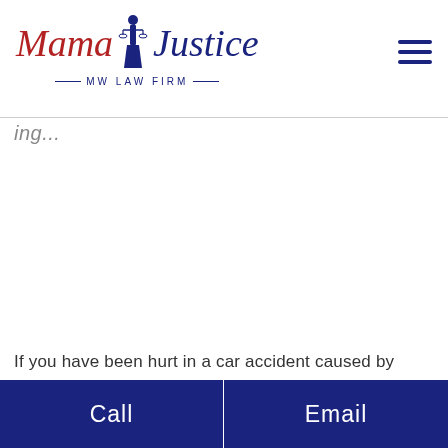[Figure (logo): Mama Justice MW Law Firm logo with lady justice figure, red script for 'Mama' and blue script for 'Justice', with 'MW LAW FIRM' in blue caps below]
If you have been hurt in a car accident caused by
Call
Email